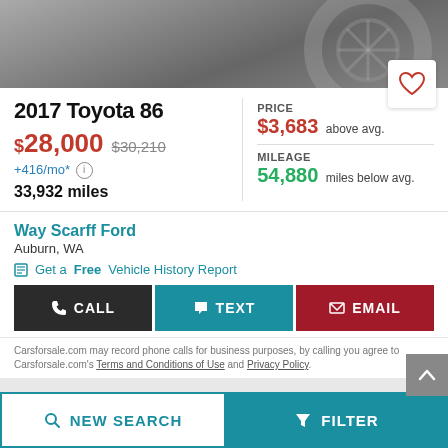[Figure (photo): Partial car image showing wheel/tire, dark and gray tones]
2017 Toyota 86
$28,000 $30,210 +416/mo* 33,932 miles | PRICE $3,683 above avg. MILEAGE 54,880 miles below avg.
Way Scarff Ford
Auburn, WA
Get a Free Vehicle History Report
CALL | TEXT | EMAIL
Carsforsale.com may record phone calls for business purposes, by calling you agree to Carsforsale.com's Terms and Conditions of Use and Privacy Policy.
NEW SEARCH | FILTER